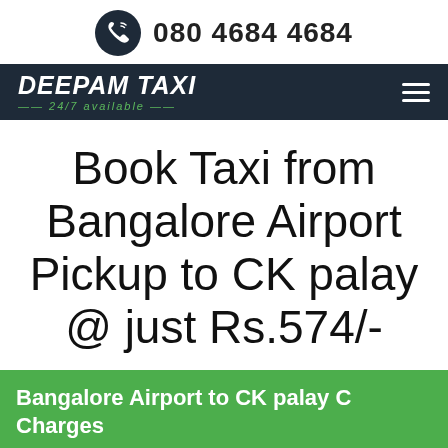080 4684 4684
[Figure (logo): Deepam Taxi logo with 24/7 available tagline on dark navy navbar, with hamburger menu icon]
Book Taxi from Bangalore Airport Pickup to CK palay @ just Rs.574/-
Bangalore Airport to CK palay Charges
| Vehicle Price Details | AC | Non Ac |
| --- | --- |
| Hatchback (4+1) |  |